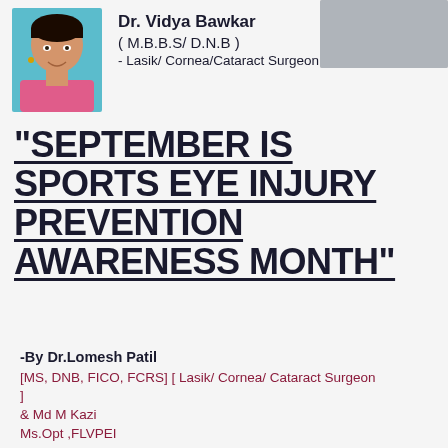[Figure (photo): Portrait photo of Dr. Vidya Bawkar, a female doctor in pink attire, alongside a second partially visible photo at top right]
Dr. Vidya Bawkar
( M.B.B.S/ D.N.B )
- Lasik/ Cornea/Cataract Surgeon
"SEPTEMBER IS SPORTS EYE INJURY PREVENTION AWARENESS MONTH"
-By Dr.Lomesh Patil
[MS, DNB, FICO, FCRS] [ Lasik/ Cornea/ Cataract Surgeon ]
& Md M Kazi
Ms.Opt ,FLVPEI